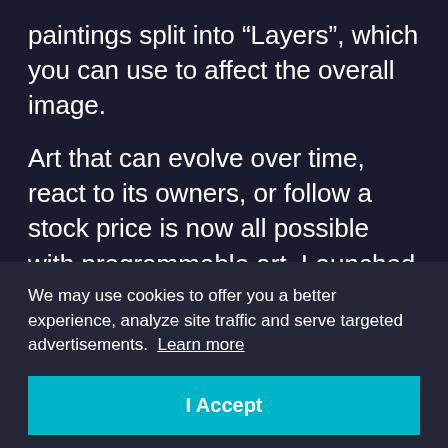paintings split into “Layers”, which you can use to affect the overall image.
Art that can evolve over time, react to its owners, or follow a stock price is now all possible with programmable art. Launched in February 2020, the platform has seen $7.8M+ in bidding
We may use cookies to offer you a better experience, analyze site traffic and serve targeted advertisements. Learn more
I Accept
piece, while Layers are the individual